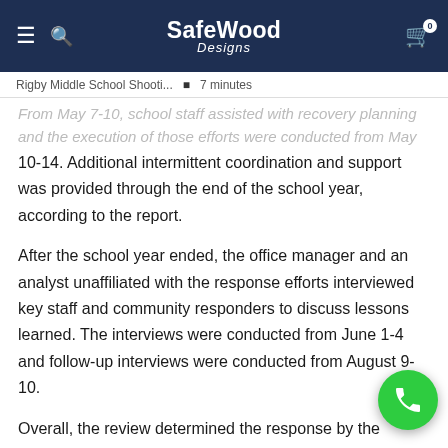SafeWood Designs (navigation bar with menu, search, logo, and cart)
Rigby Middle School Shooti... • 7 minutes
From May 7-10, school staff assisted with recovery planning and the execution of those efforts were conducted from May 10-14. Additional intermittent coordination and support was provided through the end of the school year, according to the report.
After the school year ended, the office manager and an analyst unaffiliated with the response efforts interviewed key staff and community responders to discuss lessons learned. The interviews were conducted from June 1-4 and follow-up interviews were conducted from August 9-10.
Overall, the review determined the response by the school demonstrated the effectiveness of a planned, coordinated, trained and exercised emergency operations plan. Much of what the Jefferson County School District (JCSD) had in place